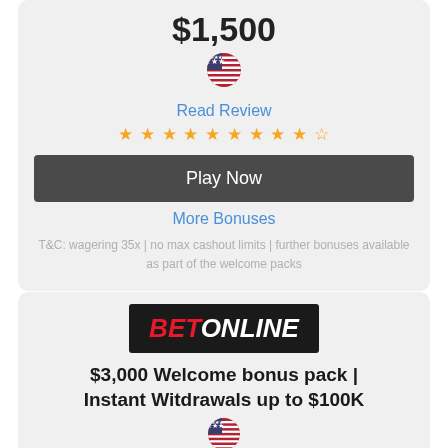$1,500
[Figure (illustration): US flag circle emoji]
Read Review
★ ★ ★ ★ ★ ★ ★ ★ ★ ☆
Play Now
More Bonuses
T&C: wagering 35x | no max cashout limits | further bonuses available as part of the welcome packs
[Figure (logo): BetOnline logo — black background with red BET and white ONLINE text]
$3,000 Welcome bonus pack | Instant Witdrawals up to $100K
[Figure (illustration): US flag circle emoji]